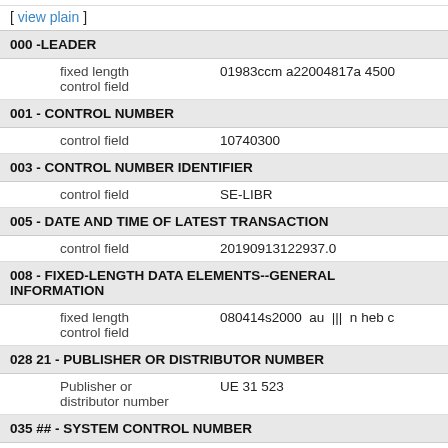[ view plain ]
| 000 -LEADER |  |  |
| fixed length control field | 01983ccm a22004817a 4500 |  |
| 001 - CONTROL NUMBER |  |  |
| control field | 10740300 |  |
| 003 - CONTROL NUMBER IDENTIFIER |  |  |
| control field | SE-LIBR |  |
| 005 - DATE AND TIME OF LATEST TRANSACTION |  |  |
| control field | 20190913122937.0 |  |
| 008 - FIXED-LENGTH DATA ELEMENTS--GENERAL INFORMATION |  |  |
| fixed length control field | 080414s2000  au  |||  n heb c |  |
| 028 21 - PUBLISHER OR DISTRIBUTOR NUMBER |  |  |
| Publisher or distributor number | UE 31 523 |  |
| 035 ## - SYSTEM CONTROL NUMBER |  |  |